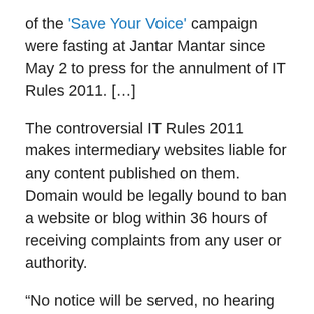of the 'Save Your Voice' campaign were fasting at Jantar Mantar since May 2 to press for the annulment of IT Rules 2011. […]
The controversial IT Rules 2011 makes intermediary websites liable for any content published on them. Domain would be legally bound to ban a website or blog within 36 hours of receiving complaints from any user or authority.
“No notice will be served, no hearing will take place and no judicial orders need to be issued to do so,” Dixit said. “The onus to prove innocence would lie on the owners of the websites in a court. This is ridiculous.”
News websites would thus be held responsible for readers’ comments, he added.
He said the government was banning websites and